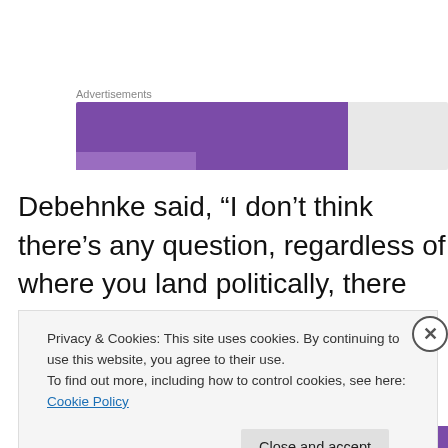Advertisements
[Figure (other): Advertisement banner — left portion filled with purple color, right portion light gray]
Debehnke said, “I don’t think there’s any question, regardless of where you land politically, there are components of the current ACA that require tweaking. Even Democrats will tell you it wasn’t exactly perfect – nobody said it was going to be perfect. It was understood
Privacy & Cookies: This site uses cookies. By continuing to use this website, you agree to their use.
To find out more, including how to control cookies, see here: Cookie Policy
Close and accept